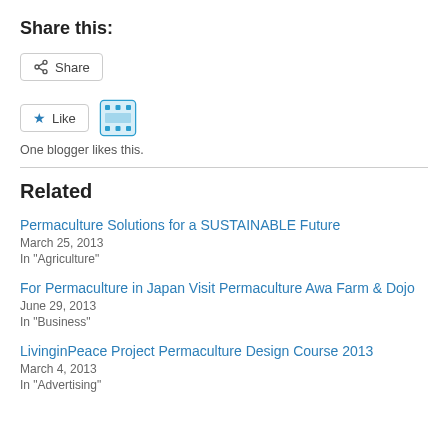Share this:
Share
Like
One blogger likes this.
Related
Permaculture Solutions for a SUSTAINABLE Future
March 25, 2013
In "Agriculture"
For Permaculture in Japan Visit Permaculture Awa Farm & Dojo
June 29, 2013
In "Business"
LivinginPeace Project Permaculture Design Course 2013
March 4, 2013
In "Advertising"